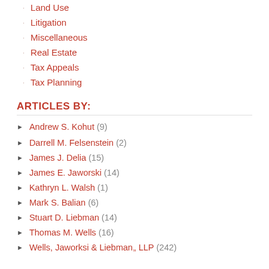Land Use
Litigation
Miscellaneous
Real Estate
Tax Appeals
Tax Planning
ARTICLES BY:
Andrew S. Kohut (9)
Darrell M. Felsenstein (2)
James J. Delia (15)
James E. Jaworski (14)
Kathryn L. Walsh (1)
Mark S. Balian (6)
Stuart D. Liebman (14)
Thomas M. Wells (16)
Wells, Jaworksi & Liebman, LLP (242)
RECENT ARTICLES